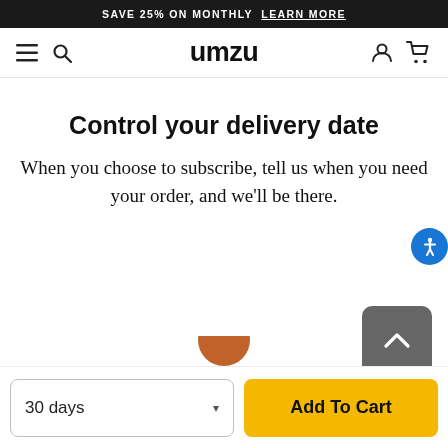SAVE 25% ON MONTHLY  LEARN MORE
umzu
Control your delivery date
When you choose to subscribe, tell us when you need your order, and we'll be there.
[Figure (screenshot): Scroll-to-top button (dark grey rounded square with white up-arrow chevron)]
[Figure (screenshot): Partial product image (brown/orange circle) peeking from bottom]
30 days
Add To Cart